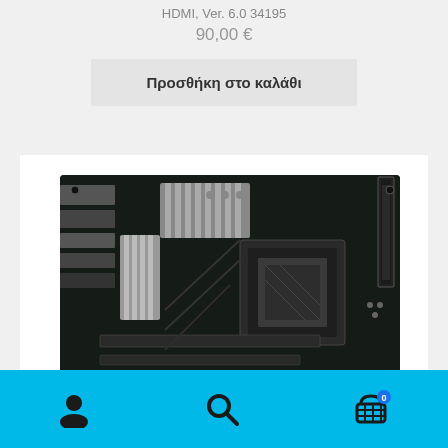HDMI, Ver. 6.0 34195
90,00 €
Προσθήκη στο καλάθι
[Figure (photo): ASRock motherboard product photo showing a mini-ITX motherboard with heatsink, CPU socket, RAM slots, and various connectors on a dark PCB]
Navigation bar with user icon, search icon, and cart icon with badge showing 0